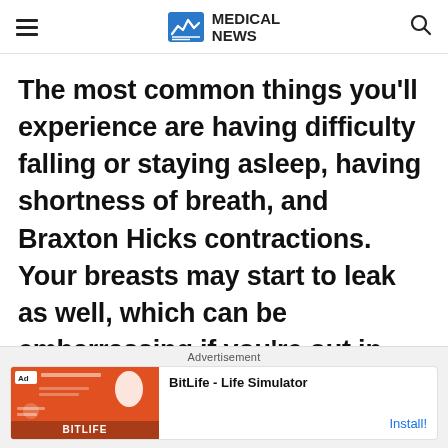MEDICAL NEWS
The most common things you'll experience are having difficulty falling or staying asleep, having shortness of breath, and Braxton Hicks contractions. Your breasts may start to leak as well, which can be embarrassing if you're out in public. That's just your body's way of preparing for breastfeeding.
Advertisement
[Figure (screenshot): Advertisement banner for BitLife - Life Simulator app with red background and sperm illustration. Shows 'Ad' badge, text 'you can't sit with us', BITLIFE logo, and Install button.]